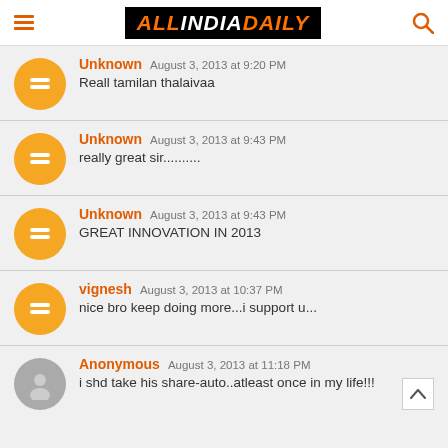ALL INDIA DAILY
Unknown August 3, 2013 at 9:20 PM
Reall tamilan thalaivaa
Unknown August 3, 2013 at 9:43 PM
really great sir..........
Unknown August 3, 2013 at 9:43 PM
GREAT INNOVATION IN 2013
vignesh August 3, 2013 at 10:37 PM
nice bro keep doing more...i support u...
Anonymous August 3, 2013 at 11:18 PM
i shd take his share-auto..atleast once in my life!!!